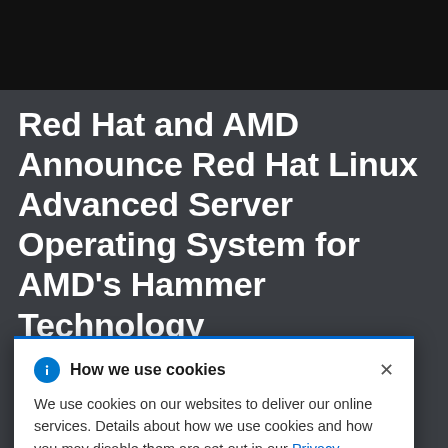Red Hat and AMD Announce Red Hat Linux Advanced Server Operating System for AMD's Hammer Technology
R... s X86-64 t... g optimised n... gust 13, 2...
[Figure (screenshot): Cookie consent dialog popup overlay with blue info icon, title 'How we use cookies', close X button, and body text about cookie usage with a Privacy Statement link]